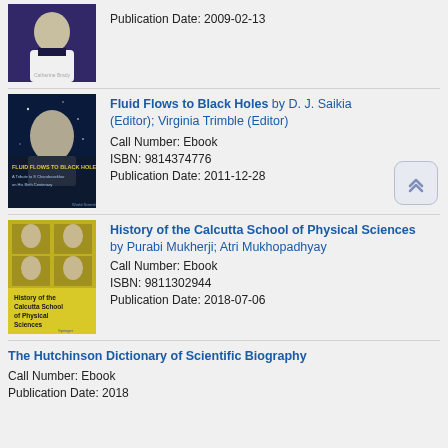[Figure (photo): Book cover: partial, showing a person in white jacket]
Publication Date: 2009-02-13
[Figure (photo): Book cover: Fluid Flows to Black Holes - A Tribute to S Chandrasekhar on His Birth Centenary]
Fluid Flows to Black Holes by D. J. Saikia (Editor); Virginia Trimble (Editor)
Call Number: Ebook
ISBN: 9814374776
Publication Date: 2011-12-28
[Figure (photo): Book cover: History of the Calcutta School of Physical Sciences, yellow cover with portrait photos]
History of the Calcutta School of Physical Sciences by Purabi Mukherji; Atri Mukhopadhyay
Call Number: Ebook
ISBN: 9811302944
Publication Date: 2018-07-06
The Hutchinson Dictionary of Scientific Biography
Call Number: Ebook
Publication Date: 2018